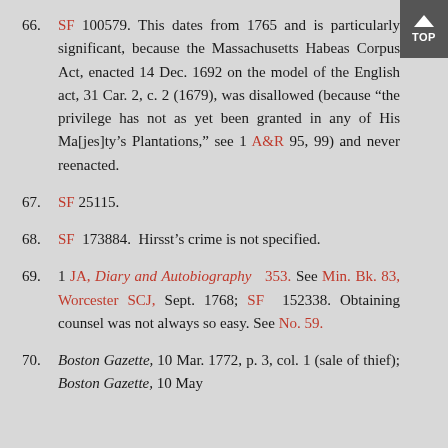66. SF 100579. This dates from 1765 and is particularly significant, because the Massachusetts Habeas Corpus Act, enacted 14 Dec. 1692 on the model of the English act, 31 Car. 2, c. 2 (1679), was disallowed (because “the privilege has not as yet been granted in any of His Ma[jes]ty’s Plantations,” see 1 A&R 95, 99) and never reenacted.
67. SF 25115.
68. SF 173884. Hirsst’s crime is not specified.
69. 1 JA, Diary and Autobiography 353. See Min. Bk. 83, Worcester SCJ, Sept. 1768; SF 152338. Obtaining counsel was not always so easy. See No. 59.
70. Boston Gazette, 10 Mar. 1772, p. 3, col. 1 (sale of thief); Boston Gazette, 10 May